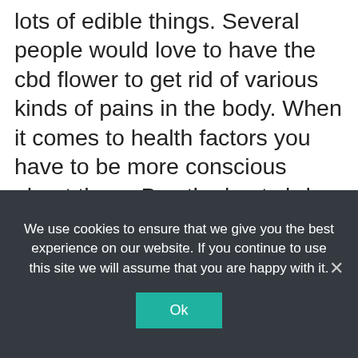lots of edible things. Several people would love to have the cbd flower to get rid of various kinds of pains in the body. When it comes to health factors you have to be more conscious about them. Buy the best cbd flower and other products from the hemp plant which makes you get relaxed. In most houses, people have common health problems like joint pain, anxiety, depression, and stress. Pets also have some arthritis issues and other various health issues. You have to provide proper treatment to it and have a regular check. Nowadays, there is plenty of online and retail shops available to get the best cbd flower products.
We use cookies to ensure that we give you the best experience on our website. If you continue to use this site we will assume that you are happy with it.